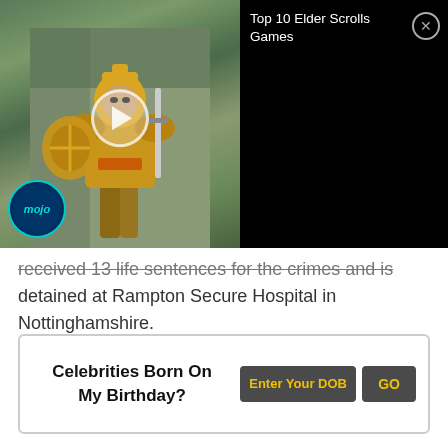[Figure (screenshot): Video player overlay showing a WatchMojo Elder Scrolls video thumbnail on the left with a warrior in golden armor, play button, and mojo logo. Right side is black with title 'Top 10 Elder Scrolls Games' and a close (X) button.]
received 13 life sentences for the crimes and is detained at Rampton Secure Hospital in Nottinghamshire.
Celebrities Born On My Birthday?
Enter Your DOB
GO